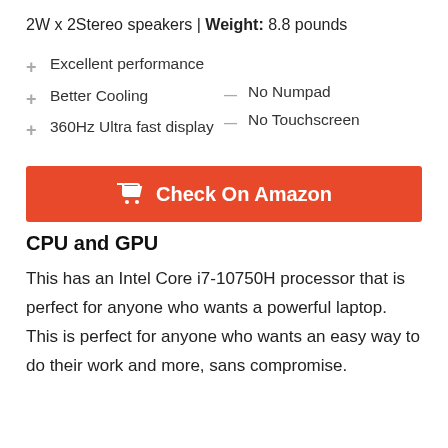2W x 2Stereo speakers | Weight: 8.8 pounds
+ Excellent performance
+ Better Cooling
+ 360Hz Ultra fast display
— No Numpad
— No Touchscreen
[Figure (other): Orange 'Check On Amazon' button with shopping cart icon]
CPU and GPU
This has an Intel Core i7-10750H processor that is perfect for anyone who wants a powerful laptop. This is perfect for anyone who wants an easy way to do their work and more, sans compromise.